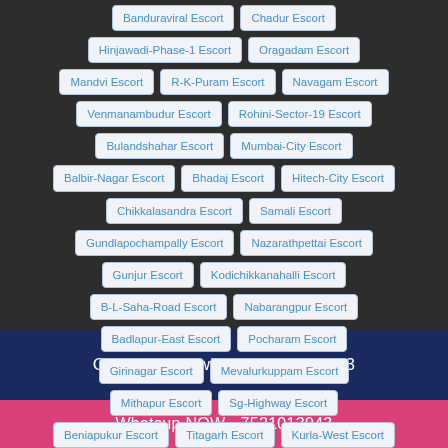Banduraviral Escort | Chadur Escort
Hinjawadi-Phase-1 Escort | Oragadam Escort
Mandvi Escort | R-K-Puram Escort | Navagam Escort
Venmanambudur Escort | Rohini-Sector-19 Escort
Bulandshahar Escort | Mumbai-City Escort
Balbir-Nagar Escort | Bhadaj Escort | Hitech-City Escort
Chikkalasandra Escort | Samali Escort
Gundlapochampally Escort | Nazarathpettai Escort
Gunjur Escort | Kodichikkanahalli Escort
B-L-Saha-Road Escort | Nabarangpur Escort
Badlapur-East Escort | Pocharam Escort
Girinagar Escort | Mevalurkuppam Escort
Mithapur Escort | Sg-Highway Escort
Beniapukur Escort | Titagarh Escort | Kurla-West Escort
CALL NOW Twinkle- 7521013943
Whatsup NOW - 7521013943